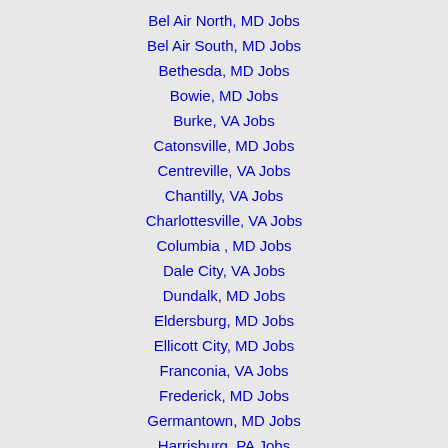Bel Air North, MD Jobs
Bel Air South, MD Jobs
Bethesda, MD Jobs
Bowie, MD Jobs
Burke, VA Jobs
Catonsville, MD Jobs
Centreville, VA Jobs
Chantilly, VA Jobs
Charlottesville, VA Jobs
Columbia , MD Jobs
Dale City, VA Jobs
Dundalk, MD Jobs
Eldersburg, MD Jobs
Ellicott City, MD Jobs
Franconia, VA Jobs
Frederick, MD Jobs
Germantown, MD Jobs
Harrisburg, PA Jobs